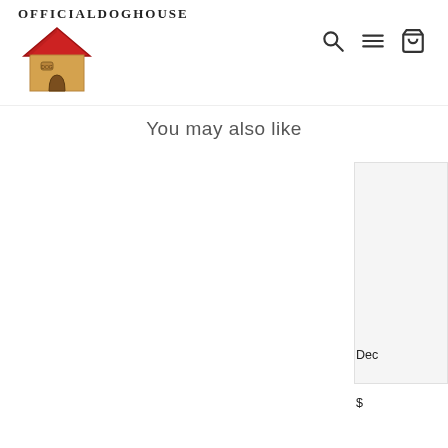OFFICIALDOGHOUSE
You may also like
Dec
$